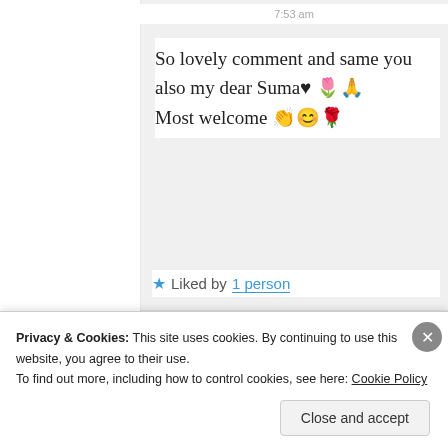7:53 am
So lovely comment and same you also my dear Suma♥ 🌷🙏
Most welcome 👏😊🌹
★ Liked by 1 person
Suma Reddy
Privacy & Cookies: This site uses cookies. By continuing to use this website, you agree to their use.
To find out more, including how to control cookies, see here: Cookie Policy
Close and accept